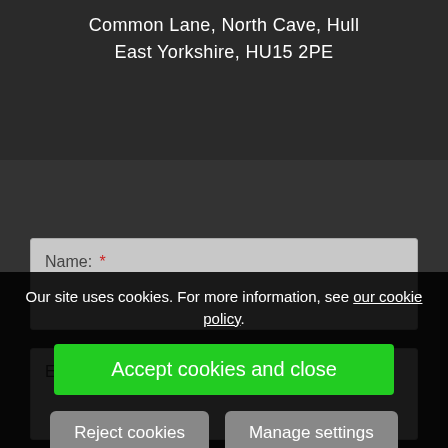Common Lane, North Cave, Hull
East Yorkshire, HU15 2PE
Name: *
Email: *
Tel:
Our site uses cookies. For more information, see our cookie policy.
Accept cookies and close
Reject cookies
Manage settings
Messa...